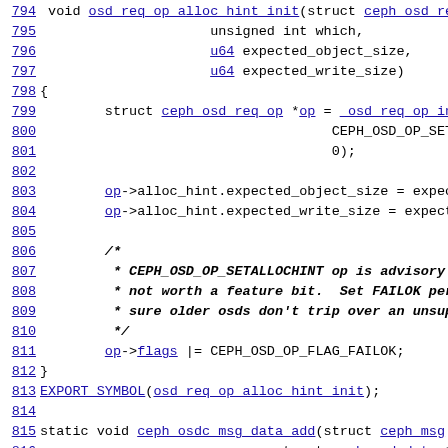Source code listing lines 794-818, C kernel code for ceph OSD request operations
794 void osd_req_op_alloc_hint_init(struct ceph_osd_request *
795                      unsigned int which,
796                      u64 expected_object_size,
797                      u64 expected_write_size)
798 {
799         struct ceph_osd_req_op *op = _osd_req_op_init(osd
800                                     CEPH_OSD_OP_SETA
801                                     0);
802
803         op->alloc_hint.expected_object_size = expected_objo
804         op->alloc_hint.expected_write_size = expected_write
805
806         /*
807          * CEPH_OSD_OP_SETALLOCHINT op is advisory
808          * not worth a feature bit.  Set FAILOK per-op flag
809          * sure older osds don't trip over an unsupported
810          */
811         op->flags |= CEPH_OSD_OP_FLAG_FAILOK;
812 }
813 EXPORT_SYMBOL(osd_req_op_alloc_hint_init);
814
815 static void ceph_osdc_msg_data_add(struct ceph_msg *m
816                              struct ceph_osd_data *osd_data)
817 {
818         u64 length = ceph_osd_data_length(osd_data);